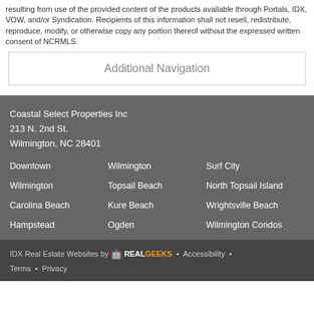resulting from use of the provided content of the products available through Portals, IDX, VOW, and/or Syndication. Recipients of this information shall not resell, redistribute, reproduce, modify, or otherwise copy any portion thereof without the expressed written consent of NCRMLS.
Additional Navigation
Coastal Select Properties Inc
213 N. 2nd St.
Wilmington, NC 28401
Downtown
Wilmington
Surf City
Wilmington
Topsail Beach
North Topsail Island
Carolina Beach
Kure Beach
Wrightsville Beach
Hampstead
Ogden
Wilmington Condos
IDX Real Estate Websites by RealGeeks • Accessibility • Terms • Privacy